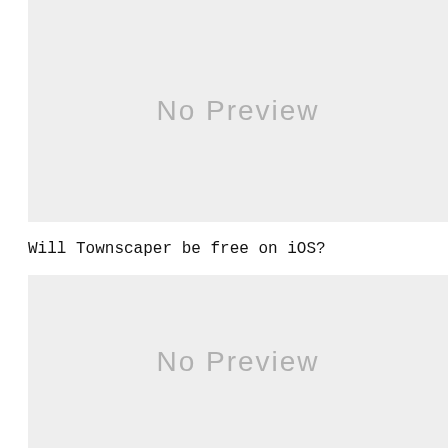[Figure (other): No Preview placeholder image box (gray background with 'No Preview' text)]
Will Townscaper be free on iOS?
[Figure (other): No Preview placeholder image box (gray background with 'No Preview' text)]